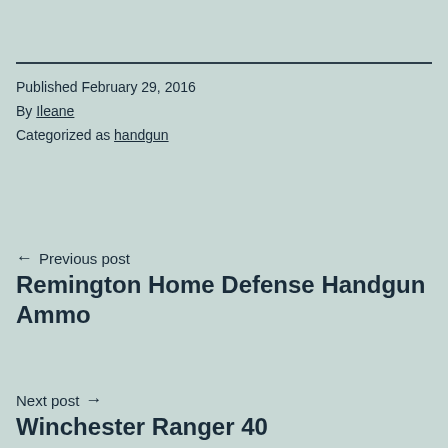Published February 29, 2016
By Ileane
Categorized as handgun
← Previous post
Remington Home Defense Handgun Ammo
Next post →
Winchester Ranger 40 ...